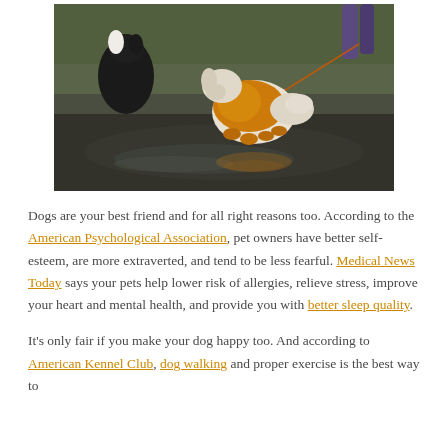[Figure (photo): A fluffy dog wearing an orange/yellow raincoat or hoodie walking on a wet reflective surface (puddle), with another black and white dog nearby and a person's legs visible in the background holding a leash.]
Dogs are your best friend and for all right reasons too. According to the American Psychological Association, pet owners have better self-esteem, are more extraverted, and tend to be less fearful. Medical News Today says your pets help lower risk of allergies, relieve stress, improve your heart and mental health, and provide you with better sleep quality.
It's only fair if you make your dog happy too. And according to American Kennel Club, dog walking and proper exercise is the best way to